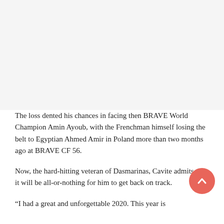[Figure (photo): Image placeholder area at top of page (photo not visible, appears as light gray/white background)]
The loss dented his chances in facing then BRAVE World Champion Amin Ayoub, with the Frenchman himself losing the belt to Egyptian Ahmed Amir in Poland more than two months ago at BRAVE CF 56.
Now, the hard-hitting veteran of Dasmarinas, Cavite admits that it will be all-or-nothing for him to get back on track.
“I had a great and unforgettable 2020. This year is